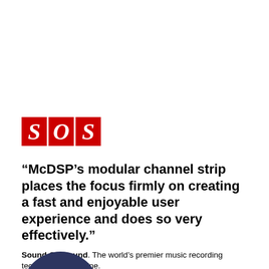[Figure (logo): Sound On Sound (SOS) magazine logo — three red rectangles each containing a white italic letter: S, O, S]
“McDSP’s modular channel strip places the focus firmly on creating a fast and enjoyable user experience and does so very effectively.”
Sound On Sound. The world’s premier music recording technology magazine.